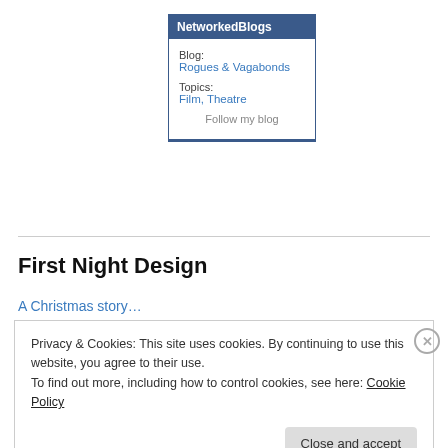[Figure (other): NetworkedBlogs widget showing Blog: Rogues & Vagabonds, Topics: Film, Theatre, with a Follow my blog link]
Blog:
Rogues & Vagabonds
Topics:
Film, Theatre
Follow my blog
First Night Design
A Christmas story…
Privacy & Cookies: This site uses cookies. By continuing to use this website, you agree to their use.
To find out more, including how to control cookies, see here: Cookie Policy